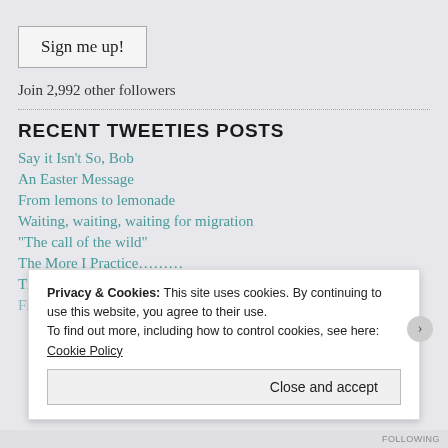Sign me up!
Join 2,992 other followers
RECENT TWEETIES POSTS
Say it Isn't So, Bob
An Easter Message
From lemons to lemonade
Waiting, waiting, waiting for migration
“The call of the wild”
The More I Practice…………
Tiny Birds in the Overcast
Privacy & Cookies: This site uses cookies. By continuing to use this website, you agree to their use.
To find out more, including how to control cookies, see here: Cookie Policy
Close and accept